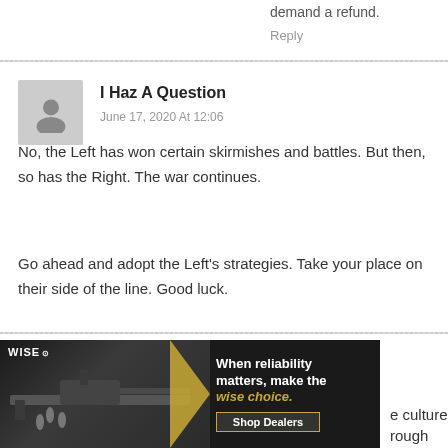demand a refund.
Reply
I Haz A Question
June 17, 2020 At 12:06
No, the Left has won certain skirmishes and battles. But then, so has the Right. The war continues.
Go ahead and adopt the Left's strategies. Take your place on their side of the line. Good luck.
LifeSavor
June 17, 2020 At 12:08
[Figure (photo): Advertisement banner for WISE showing firearms and text 'When reliability matters, make the wise choice.' with Shop Dealers button]
e culture rough